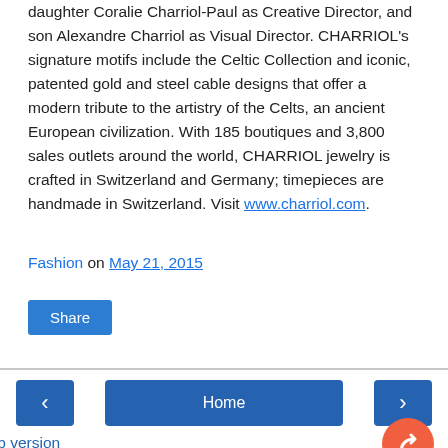daughter Coralie Charriol-Paul as Creative Director, and son Alexandre Charriol as Visual Director. CHARRIOL's signature motifs include the Celtic Collection and iconic, patented gold and steel cable designs that offer a modern tribute to the artistry of the Celts, an ancient European civilization. With 185 boutiques and 3,800 sales outlets around the world, CHARRIOL jewelry is crafted in Switzerland and Germany; timepieces are handmade in Switzerland. Visit www.charriol.com.
Fashion on May 21, 2015
Share
< Home > View web version